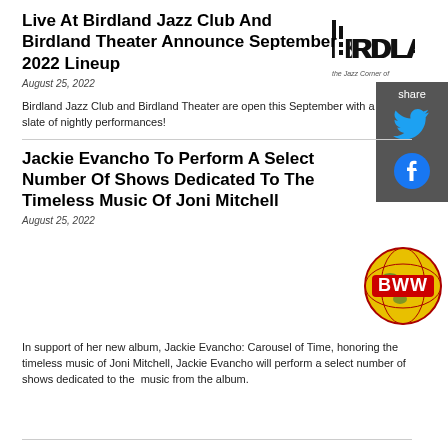Live At Birdland Jazz Club And Birdland Theater Announce September 2022 Lineup
[Figure (logo): Birdland Jazz Club logo with text 'BIRDLAND' and tagline 'the Jazz Corner of the World']
August 25, 2022
[Figure (infographic): Share panel with Twitter and Facebook icons on dark grey background]
Birdland Jazz Club and Birdland Theater are open this September with a slate of nightly performances!
Jackie Evancho To Perform A Select Number Of Shows Dedicated To The Timeless Music Of Joni Mitchell
[Figure (logo): BWW (Broadway World) globe logo — red, yellow, and black globe with BWW text]
August 25, 2022
In support of her new album, Jackie Evancho: Carousel of Time, honoring the timeless music of Joni Mitchell, Jackie Evancho will perform a select number of shows dedicated to the  music from the album.